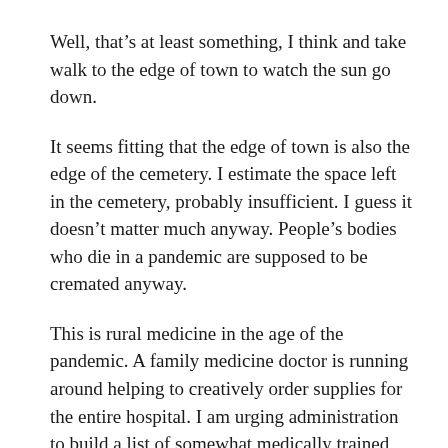Well, that’s at least something, I think and take walk to the edge of town to watch the sun go down.
It seems fitting that the edge of town is also the edge of the cemetery. I estimate the space left in the cemetery, probably insufficient. I guess it doesn’t matter much anyway. People’s bodies who die in a pandemic are supposed to be cremated anyway.
This is rural medicine in the age of the pandemic. A family medicine doctor is running around helping to creatively order supplies for the entire hospital. I am urging administration to build a list of somewhat medically trained people in the community to use as an auxiliary nursing force.
Trying to think of anything and everything we can do to keep people out of the hospital... I plead with